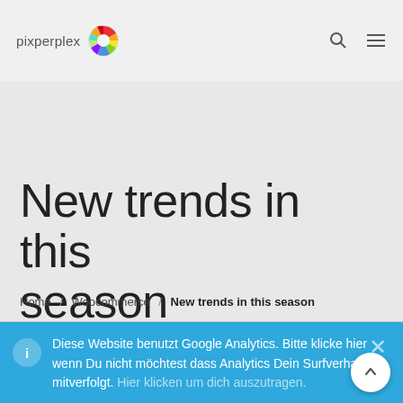pixperplex
New trends in this season
Home / Woocommerce / New trends in this season
Diese Website benutzt Google Analytics. Bitte klicke hier wenn Du nicht möchtest dass Analytics Dein Surfverhalten mitverfolgt. Hier klicken um dich auszutragen.